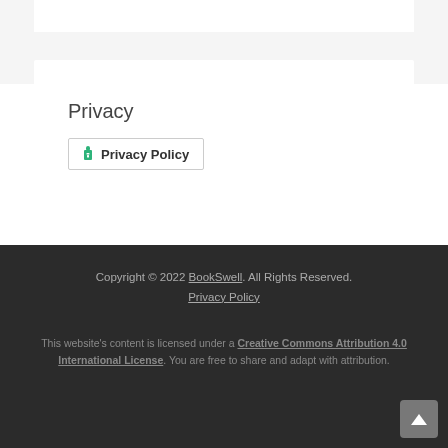Privacy
Privacy Policy
Copyright © 2022 BookSwell. All Rights Reserved.
Privacy Policy
This website's content is licensed under a Creative Commons Attribution 4.0 International License. You are free to share and adapt with attribution.